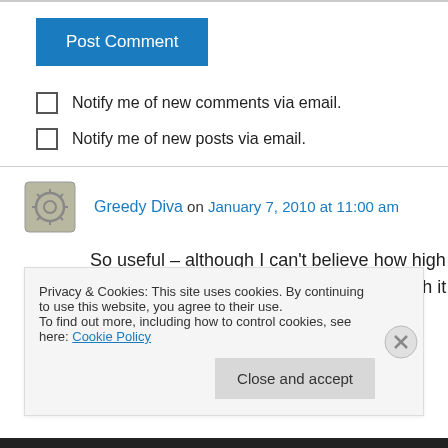[Figure (other): Post Comment button - blue rectangular button]
Notify me of new comments via email.
Notify me of new posts via email.
Greedy Diva on January 7, 2010 at 11:00 am
So useful – although I can't believe how high the corkage fees are – definitely only worth it for
Privacy & Cookies: This site uses cookies. By continuing to use this website, you agree to their use.
To find out more, including how to control cookies, see here: Cookie Policy
Close and accept